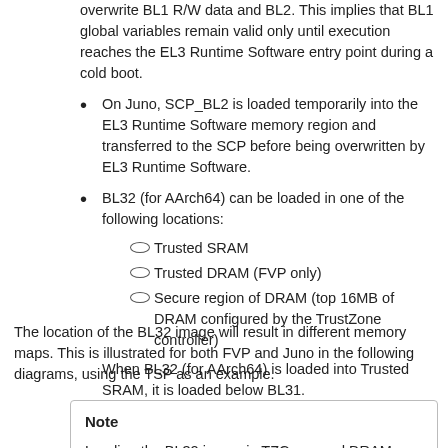overwrite BL1 R/W data and BL2. This implies that BL1 global variables remain valid only until execution reaches the EL3 Runtime Software entry point during a cold boot.
On Juno, SCP_BL2 is loaded temporarily into the EL3 Runtime Software memory region and transferred to the SCP before being overwritten by EL3 Runtime Software.
BL32 (for AArch64) can be loaded in one of the following locations:
Trusted SRAM
Trusted DRAM (FVP only)
Secure region of DRAM (top 16MB of DRAM configured by the TrustZone controller)
When BL32 (for AArch64) is loaded into Trusted SRAM, it is loaded below BL31.
The location of the BL32 image will result in different memory maps. This is illustrated for both FVP and Juno in the following diagrams, using the TSP as an example.
Note
Loading the BL32 image in TZC secured DRAM doesn't change the memory layout of the other